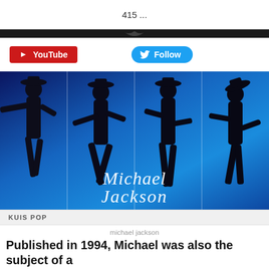415 ...
[Figure (other): YouTube button and Twitter Follow button row]
[Figure (photo): Michael Jackson silhouette collage showing four dance poses against a blue background, with cursive Michael Jackson signature at the bottom]
KUIS POP
michael jackson
Published in 1994, Michael was also the subject of a